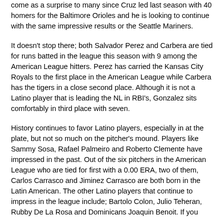come as a surprise to many since Cruz led last season with 40 homers for the Baltimore Orioles and he is looking to continue with the same impressive results or the Seattle Mariners.
It doesn't stop there; both Salvador Perez and Carbera are tied for runs batted in the league this season with 9 among the American League hitters. Perez has carried the Kansas City Royals to the first place in the American League while Carbera has the tigers in a close second place. Although it is not a Latino player that is leading the NL in RBI's, Gonzalez sits comfortably in third place with seven.
History continues to favor Latino players, especially in at the plate, but not so much on the pitcher's mound. Players like Sammy Sosa, Rafael Palmeiro and Roberto Clemente have impressed in the past. Out of the six pitchers in the American League who are tied for first with a 0.00 ERA, two of them, Carlos Carrasco and Jiminez Carrasco are both born in the Latin American. The other Latino players that continue to impress in the league include; Bartolo Colon, Julio Teheran, Rubby De La Rosa and Dominicans Joaquin Benoit. If you